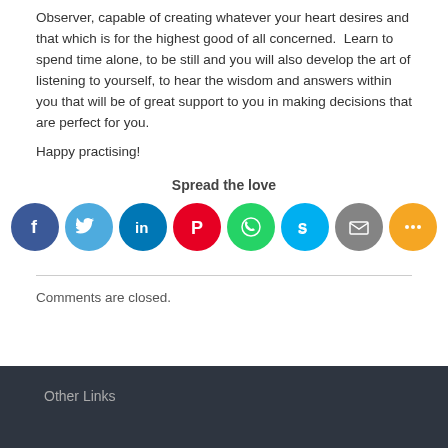Observer, capable of creating whatever your heart desires and that which is for the highest good of all concerned.  Learn to spend time alone, to be still and you will also develop the art of listening to yourself, to hear the wisdom and answers within you that will be of great support to you in making decisions that are perfect for you.
Happy practising!
Spread the love
[Figure (infographic): Row of social media share icons: Facebook, Twitter, LinkedIn, Pinterest, WhatsApp, Skype, Email, More]
Comments are closed.
Other Links